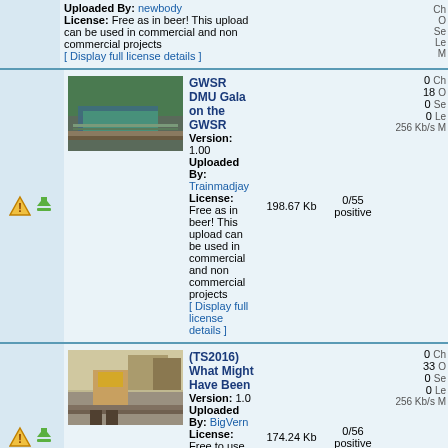Uploaded By: newbody
License: Free as in beer! This upload can be used in commercial and non commercial projects
[ Display full license details ]
[Figure (screenshot): Train simulation screenshot showing a green/teal DMU train at a station with trees in background]
GWSR DMU Gala on the GWSR
Version: 1.00
Uploaded By: Trainmadjay
License: Free as in beer! This upload can be used in commercial and non commercial projects
[ Display full license details ]
198.67 Kb
0/55 positive
0 Ch
18 O
0 Se
0 Le
256 Kb/s M
[Figure (screenshot): Train simulation screenshot showing a yellow/brown diesel locomotive at a station platform]
(TS2016) What Might Have Been
Version: 1.0
Uploaded By: BigVern
License: Free to use in non-commercial projects only
[ Display full license details ]
174.24 Kb
0/56 positive
0 Ch
33 O
0 Se
0 Le
256 Kb/s M
[Figure (screenshot): Partial screenshot showing a blue sky background - RW item]
RW